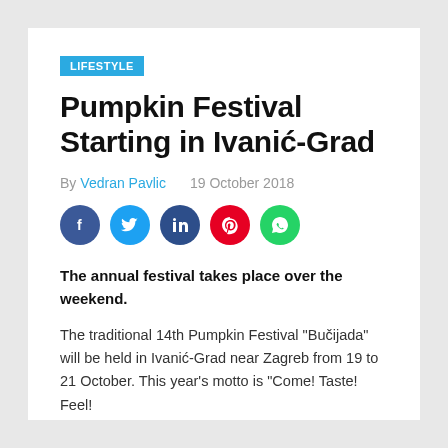LIFESTYLE
Pumpkin Festival Starting in Ivanić-Grad
By Vedran Pavlic   19 October 2018
[Figure (other): Social media share icons: Facebook, Twitter, LinkedIn, Pinterest, WhatsApp]
The annual festival takes place over the weekend.
The traditional 14th Pumpkin Festival "Bučijada" will be held in Ivanić-Grad near Zagreb from 19 to 21 October. This year's motto is "Come! Taste! Feel!